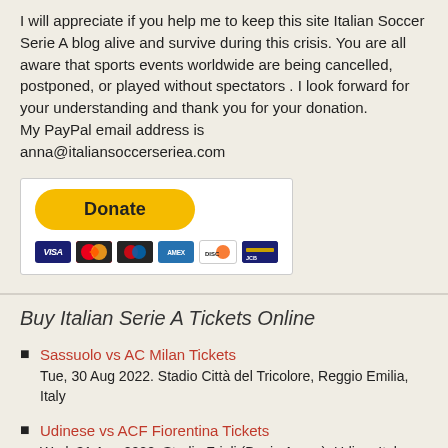I will appreciate if you help me to keep this site Italian Soccer Serie A blog alive and survive during this crisis. You are all aware that sports events worldwide are being cancelled, postponed, or played without spectators . I look forward for your understanding and thank you for your donation.
My PayPal email address is
anna@italiansoccerseriea.com
[Figure (other): PayPal Donate button with credit card icons (Visa, Mastercard, American Express, Discover, and other card logos)]
Buy Italian Serie A Tickets Online
Sassuolo vs AC Milan Tickets
Tue, 30 Aug 2022. Stadio Città del Tricolore, Reggio Emilia, Italy
Udinese vs ACF Fiorentina Tickets
Wed, 31 Aug 2022. Stadio Friuli (Dacia Arena), Udine, Italy